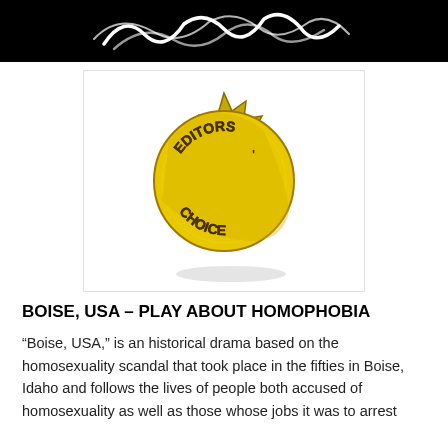[Figure (logo): White decorative script/logo on black background banner at top of page]
[Figure (illustration): Yellow starburst 'Editor's Choice' award seal badge with dark outline text reading EDITORS CHOICE on a yellow sunburst shape]
BOISE, USA – PLAY ABOUT HOMOPHOBIA
“Boise, USA,” is an historical drama based on the homosexuality scandal that took place in the fifties in Boise, Idaho and follows the lives of people both accused of homosexuality as well as those whose jobs it was to arrest